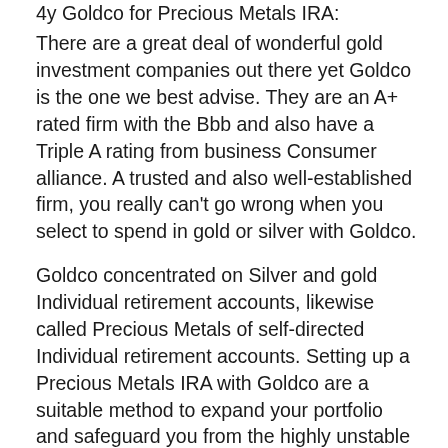4y Goldco for Precious Metals IRA:
There are a great deal of wonderful gold investment companies out there yet Goldco is the one we best advise. They are an A+ rated firm with the Bbb and also have a Triple A rating from business Consumer alliance. A trusted and also well-established firm, you really can't go wrong when you select to spend in gold or silver with Goldco.
Goldco concentrated on Silver and gold Individual retirement accounts, likewise called Precious Metals of self-directed Individual retirement accounts. Setting up a Precious Metals IRA with Goldco are a suitable method to expand your portfolio and safeguard you from the highly unstable